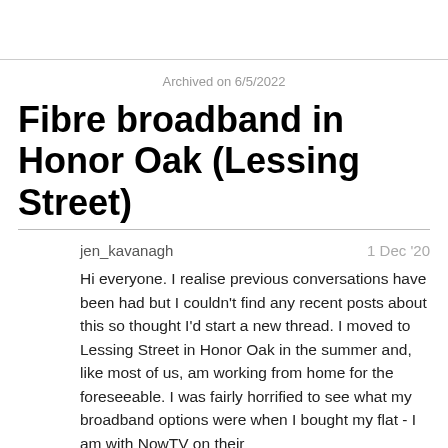Archived on 6/5/2022
Fibre broadband in Honor Oak (Lessing Street)
jen_kavanagh   1 Dec '20
Hi everyone. I realise previous conversations have been had but I couldn't find any recent posts about this so thought I'd start a new thread. I moved to Lessing Street in Honor Oak in the summer and, like most of us, am working from home for the foreseeable. I was fairly horrified to see what my broadband options were when I bought my flat - I am with NowTV on their